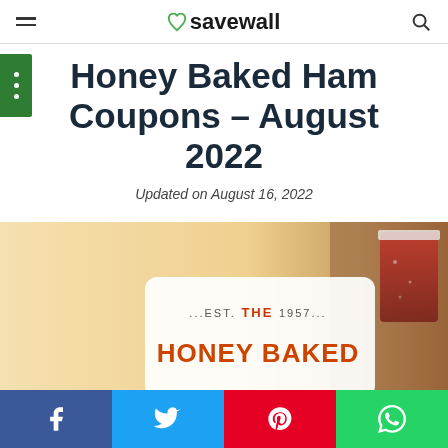savewall
Honey Baked Ham Coupons – August 2022
Updated on August 16, 2022
[Figure (photo): Honey Baked Ham restaurant logo on a warm blurred background with a drink visible on the right side. Text shows '...EST. THE 1957... HONEY BAKED']
Facebook | Twitter | Pinterest | WhatsApp share buttons